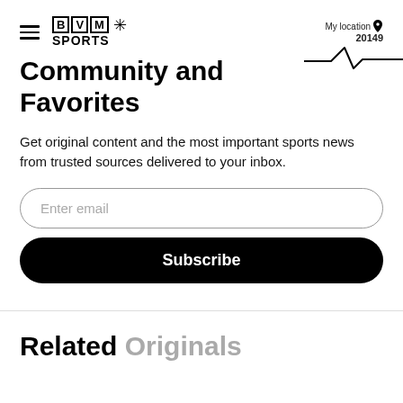BVM SPORTS — My location 20149
Community and Favorites
Get original content and the most important sports news from trusted sources delivered to your inbox.
Enter email
Subscribe
Related Originals